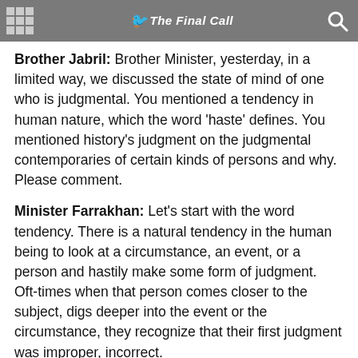The Final Call
Brother Jabril: Brother Minister, yesterday, in a limited way, we discussed the state of mind of one who is judgmental. You mentioned a tendency in human nature, which the word 'haste' defines. You mentioned history's judgment on the judgmental contemporaries of certain kinds of persons and why. Please comment.
Minister Farrakhan: Let's start with the word tendency. There is a natural tendency in the human being to look at a circumstance, an event, or a person and hastily make some form of judgment. Oft-times when that person comes closer to the subject, digs deeper into the event or the circumstance, they recognize that their first judgment was improper, incorrect.
This tendency that exists causes the human being great trouble because unfortunately, when we make a hasty judgment of an event, a circumstance, or a person, our ego can get involved in that judgment and therefore, that judgment could be a blinding factor in our properly relating to the event, the circumstance, or the person.